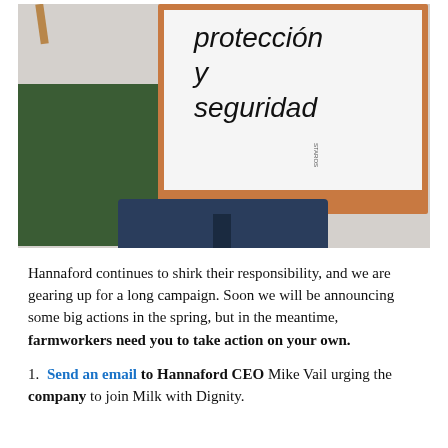[Figure (photo): A person holding a whiteboard with 'protección y seguridad' written in Spanish handwriting, standing on a green mat, with a wooden-framed whiteboard]
Hannaford continues to shirk their responsibility, and we are gearing up for a long campaign. Soon we will be announcing some big actions in the spring, but in the meantime, farmworkers need you to take action on your own.
1. Send an email to Hannaford CEO Mike Vail urging the company to join Milk with Dignity.